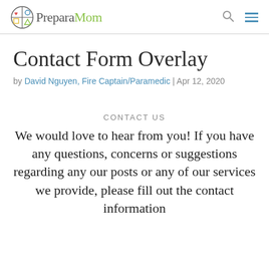PreparaMom
Contact Form Overlay
by David Nguyen, Fire Captain/Paramedic | Apr 12, 2020
CONTACT US
We would love to hear from you! If you have any questions, concerns or suggestions regarding any our posts or any of our services we provide, please fill out the contact information